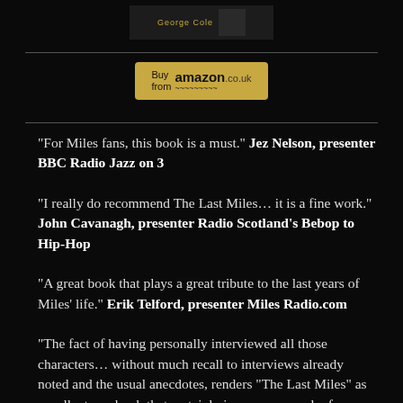[Figure (photo): Partial book cover image at top, showing author name 'George Cole']
[Figure (screenshot): Buy from amazon.co.uk button with yellow background]
“For Miles fans, this book is a must.” Jez Nelson, presenter BBC Radio Jazz on 3
“I really do recommend The Last Miles… it is a fine work.” John Cavanagh, presenter Radio Scotland’s Bebop to Hip-Hop
“A great book that plays a great tribute to the last years of Miles’ life.” Erik Telford, presenter Miles Radio.com
“The fact of having personally interviewed all those characters… without much recall to interviews already noted and the usual anecdotes, renders “The Last Miles” as excellent… a book that certainly is seen as a work of